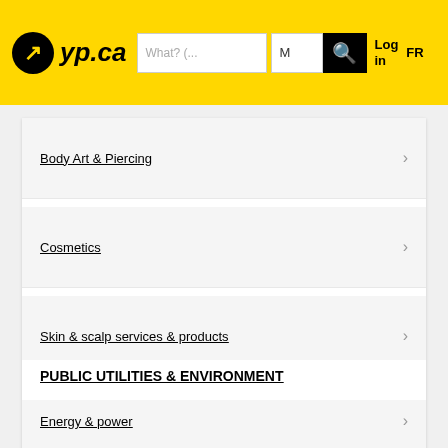[Figure (screenshot): yp.ca website header with yellow background, logo, search box showing 'What? (...', location field 'M', black search button with yellow magnifying glass icon, Log in and FR links]
Body Art & Piercing
Cosmetics
Skin & scalp services & products
View All
PUBLIC UTILITIES & ENVIRONMENT
Energy & power